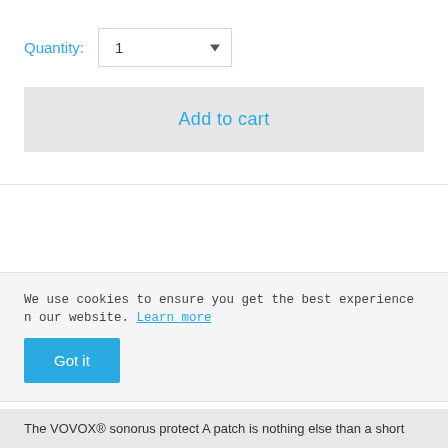Quantity: 1
Add to cart
We use cookies to ensure you get the best experience n our website. Learn more
Got it
The VOVOX® sonorus protect A patch is nothing else than a short